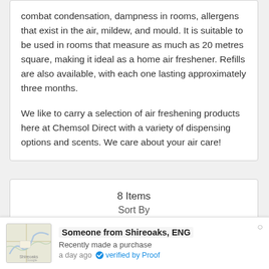combat condensation, dampness in rooms, allergens that exist in the air, mildew, and mould. It is suitable to be used in rooms that measure as much as 20 metres square, making it ideal as a home air freshener. Refills are also available, with each one lasting approximately three months.
We like to carry a selection of air freshening products here at Chemsol Direct with a variety of dispensing options and scents. We care about your air care!
8 Items
Sort By
Someone from Shireoaks, ENG
Recently made a purchase
a day ago  verified by Proof